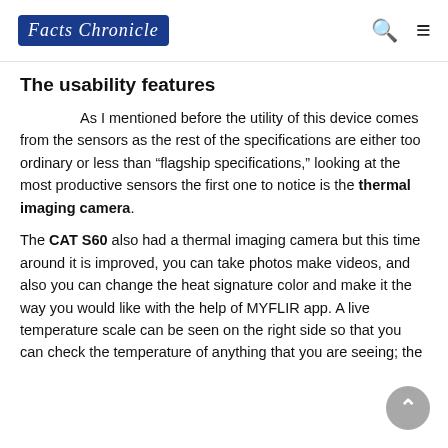Facts Chronicle
The usability features
As I mentioned before the utility of this device comes from the sensors as the rest of the specifications are either too ordinary or less than “flagship specifications,” looking at the most productive sensors the first one to notice is the thermal imaging camera.
The CAT S60 also had a thermal imaging camera but this time around it is improved, you can take photos make videos, and also you can change the heat signature color and make it the way you would like with the help of MYFLIR app. A live temperature scale can be seen on the right side so that you can check the temperature of anything that you are seeing; the